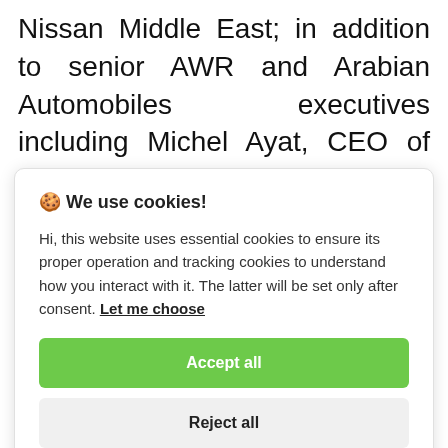Nissan Middle East; in addition to senior AWR and Arabian Automobiles executives including Michel Ayat, CEO of AWR Automotive and Salah Yamout, COO of Arabian Automobiles.
🍪 We use cookies!
Hi, this website uses essential cookies to ensure its proper operation and tracking cookies to understand how you interact with it. The latter will be set only after consent. Let me choose
Accept all
Reject all